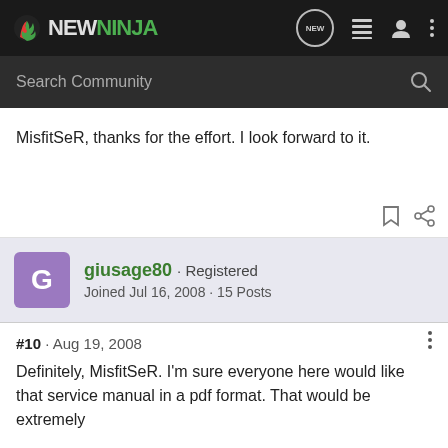[Figure (logo): NewNinja forum logo with navigation icons on dark background]
[Figure (screenshot): Search Community input bar on dark background]
MisfitSeR, thanks for the effort. I look forward to it.
giusage80 · Registered
Joined Jul 16, 2008 · 15 Posts
#10 · Aug 19, 2008
Definitely, MisfitSeR. I'm sure everyone here would like that service manual in a pdf format. That would be extremely